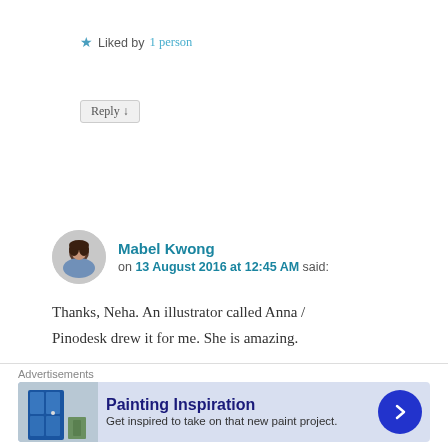★ Liked by 1 person
Reply ↓
Mabel Kwong on 13 August 2016 at 12:45 AM said:
Thanks, Neha. An illustrator called Anna / Pinodesk drew it for me. She is amazing.
★ Liked by 1 person
Reply ↓
thetraveller
Advertisements
Painting Inspiration
Get inspired to take on that new paint project.